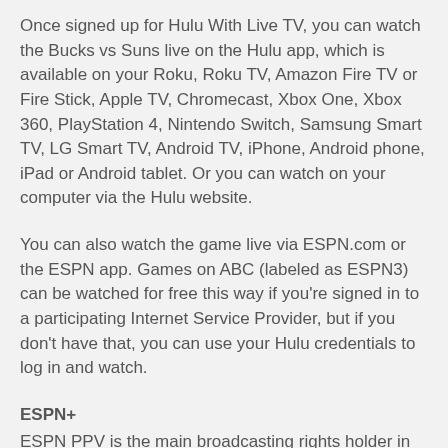Once signed up for Hulu With Live TV, you can watch the Bucks vs Suns live on the Hulu app, which is available on your Roku, Roku TV, Amazon Fire TV or Fire Stick, Apple TV, Chromecast, Xbox One, Xbox 360, PlayStation 4, Nintendo Switch, Samsung Smart TV, LG Smart TV, Android TV, iPhone, Android phone, iPad or Android tablet. Or you can watch on your computer via the Hulu website.
You can also watch the game live via ESPN.com or the ESPN app. Games on ABC (labeled as ESPN3) can be watched for free this way if you're signed in to a participating Internet Service Provider, but if you don't have that, you can use your Hulu credentials to log in and watch.
ESPN+
ESPN PPV is the main broadcasting rights holder in the US for the fight. The fight will be available for live streaming via the website, it will be offered on a Pay-